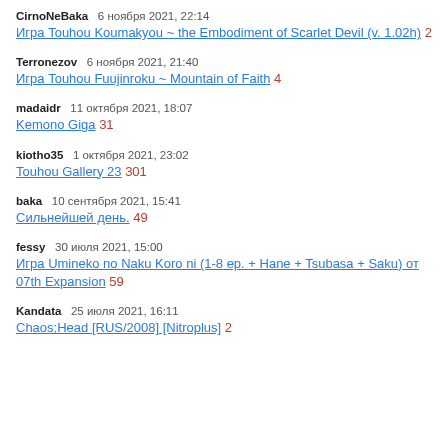CirnoNeBaka  6 ноября 2021, 22:14
Игра Touhou Koumakyou ~ the Embodiment of Scarlet Devil (v. 1.02h) 2
Terronezov  6 ноября 2021, 21:40
Игра Touhou Fuujinroku ~ Mountain of Faith 4
madaidr  11 октября 2021, 18:07
Kemono Giga 31
kiotho35  1 октября 2021, 23:02
Touhou Gallery 23 301
baka  10 сентября 2021, 15:41
Сильнейшей день. 49
fessy  30 июля 2021, 15:00
Игра Umineko no Naku Koro ni (1-8 ep. + Hane + Tsubasa + Saku) от 07th Expansion 59
Kandata  25 июля 2021, 16:11
Chaos;Head [RUS/2008] [Nitroplus] 2